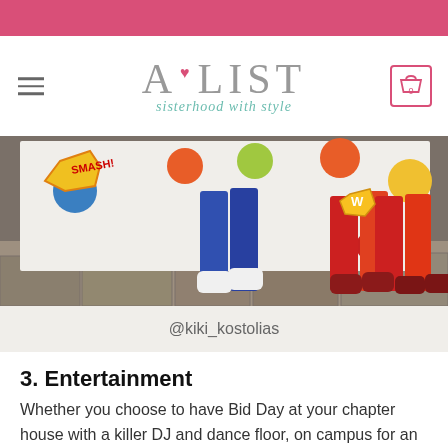[Figure (logo): A-LIST logo with pink heart bullet and teal italic tagline 'sisterhood with style']
[Figure (photo): Three people's legs wearing colorful comic-book themed leggings and sneakers in front of a polka-dot backdrop with SMASH and POW comic stickers]
@kiki_kostolias
3. Entertainment
Whether you choose to have Bid Day at your chapter house with a killer DJ and dance floor, on campus for an all-out mini carnival or at a different location like a skating rink, the most important thing is that it...